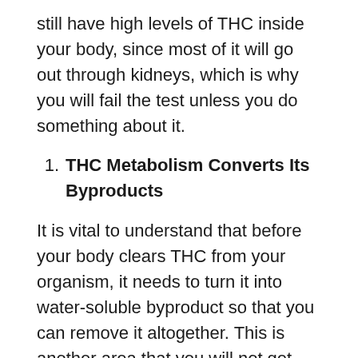still have high levels of THC inside your body, since most of it will go out through kidneys, which is why you will fail the test unless you do something about it.
THC Metabolism Converts Its Byproducts
It is vital to understand that before your body clears THC from your organism, it needs to turn it into water-soluble byproduct so that you can remove it altogether. This is another area that you will not get better by using detox beverages, which is why it is challenging to cleanse yourself.
You will need to drink products that will increase overall liver metabolism and increase the production of fat-soluble metabolites into water-soluble ones that may get out of your body.